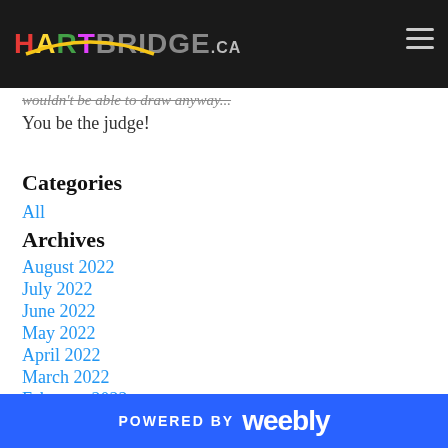HARTBRIDGE.ca
wouldn't be able to draw anyway...
You be the judge!
Categories
All
Archives
August 2022
July 2022
June 2022
May 2022
April 2022
March 2022
February 2022
January 2022
POWERED BY weebly